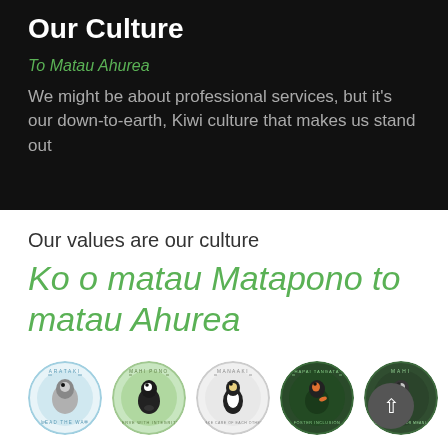Our Culture
To Matau Ahurea
We might be about professional services, but it's our down-to-earth, Kiwi culture that makes us stand out
Our values are our culture
Ko o matau Matapono to matau Ahurea
[Figure (illustration): Five circular badge icons, each featuring a New Zealand bird illustration with text around the border. Left to right: ARATAKI - LEAD THE WAY (light blue border, bird), MAHI PONO - SERVE WITH INTEGRITY (green background, black bird), MANAAKI - TAKE CARE OF EACH OTHER (light background, penguin-like bird), HAPAI TANGATA - FOSTER INCLUSION (dark green, colorful bird), MAHI (partially cut off) - COLLABORATE FOR MEANINGFUL (dark green, bird). A grey circular back button with up arrow overlaps the last badge.]